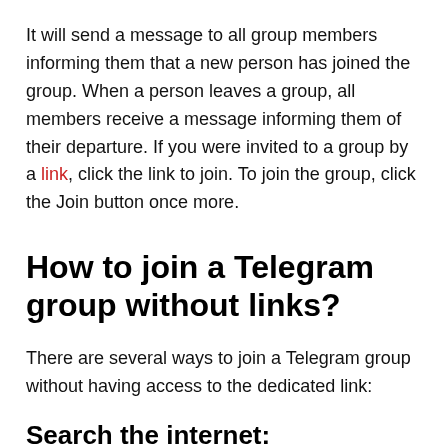It will send a message to all group members informing them that a new person has joined the group. When a person leaves a group, all members receive a message informing them of their departure. If you were invited to a group by a link, click the link to join. To join the group, click the Join button once more.
How to join a Telegram group without links?
There are several ways to join a Telegram group without having access to the dedicated link:
Search the internet: